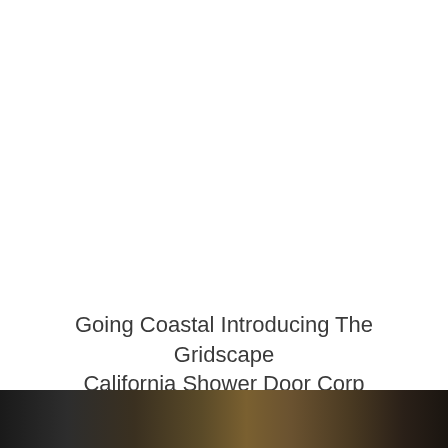Going Coastal Introducing The Gridscape California Shower Door Corp
[Figure (photo): Dark photographic strip at the bottom of the page, partially visible, showing dark tones with warm amber/brown hues suggesting a product or interior photograph.]